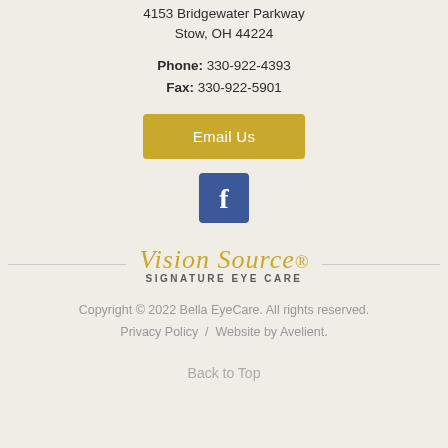4153 Bridgewater Parkway
Stow, OH 44224
Phone: 330-922-4393
Fax: 330-922-5901
[Figure (other): Gold 'Email Us' button]
[Figure (logo): Facebook icon button (blue square with white 'f')]
[Figure (logo): Vision Source Signature Eye Care logo in gold italic script with grey divider lines on each side]
Copyright © 2022 Bella EyeCare. All rights reserved.
Privacy Policy  /  Website by Avelient.
Back to Top